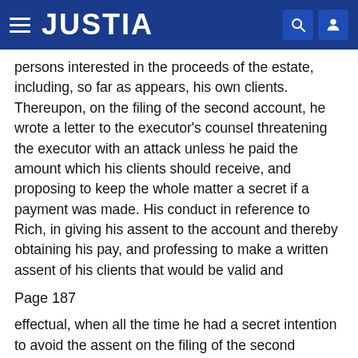JUSTIA
persons interested in the proceeds of the estate, including, so far as appears, his own clients. Thereupon, on the filing of the second account, he wrote a letter to the executor's counsel threatening the executor with an attack unless he paid the amount which his clients should receive, and proposing to keep the whole matter a secret if a payment was made. His conduct in reference to Rich, in giving his assent to the account and thereby obtaining his pay, and professing to make a written assent of his clients that would be valid and
Page 187
effectual, when all the time he had a secret intention to avoid the assent on the filing of the second account, was dishonest. In reference to his clients, it is not to be inferred that they consented to his signing their assent to the allowance of an account which he knew gave them